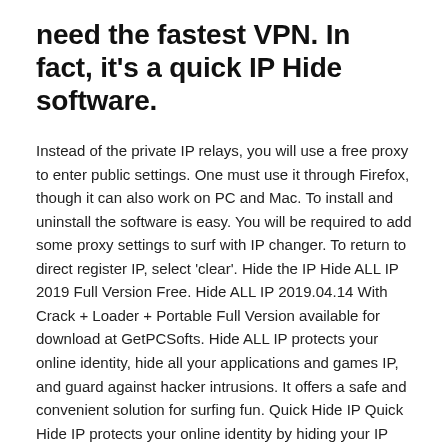need the fastest VPN. In fact, it's a quick IP Hide software.
Instead of the private IP relays, you will use a free proxy to enter public settings. One must use it through Firefox, though it can also work on PC and Mac. To install and uninstall the software is easy. You will be required to add some proxy settings to surf with IP changer. To return to direct register IP, select 'clear'. Hide the IP Hide ALL IP 2019 Full Version Free. Hide ALL IP 2019.04.14 With Crack + Loader + Portable Full Version available for download at GetPCSofts. Hide ALL IP protects your online identity, hide all your applications and games IP, and guard against hacker intrusions. It offers a safe and convenient solution for surfing fun. Quick Hide IP Quick Hide IP protects your online identity by hiding your IP address and $19.95 DOWNLOAD; Hide IP Easy Browsing on the Internet is becoming more and more dangerous in today's world. $19.95 DOWNLOAD